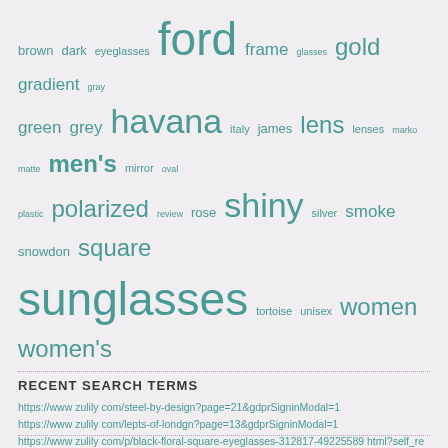brown dark eyeglasses ford frame glasses gold gradient gray green grey havana italy james lens lenses marko matte men's mirror oval plastic polarized review rose shiny silver smoke snowdon square sunglasses tortoise unisex women women's
RECENT SEARCH TERMS
https://www zulily com/steel-by-design?page=21&gdprSigninModal=1
https://www zulily com/lepts-of-londgn?page=13&gdprSigninModal=1
https://www zulily com/p/black-floral-square-eyeglasses-312817-49225589 html?self_redirect=1
https://www zulily com/smocked?page=7&gdprSigninModal=1
https://www zulily com/mia?page=7&gdprSigninModal=1
https://www zulily com/latico?page=6&gdprSigninModal=1
https://www zulily com/black-and-white-striped-womens-tops?gdprSignupModal=1&page=2
https://www zulily com/its-a-10-2?page=22&gdprSigninModal=1
https://www zulily com/white-with-style?page=54&gdprSignupModal=1
https://www zulily com/e/classic-shades-488221 html?page=9